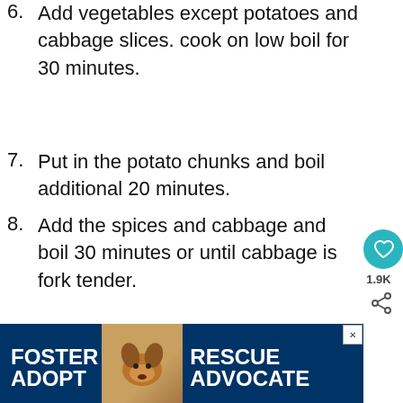6. Add vegetables except potatoes and cabbage slices. cook on low boil for 30 minutes.
7. Put in the potato chunks and boil additional 20 minutes.
8. Add the spices and cabbage and boil 30 minutes or until cabbage is fork tender.
[Figure (illustration): Advertisement banner: Foster Adopt / Rescue Advocate with a beagle dog image on dark blue background]
[Figure (infographic): What's Next arrow link to Freezing Tomatoes with tomato image]
[Figure (illustration): Advertisement banner: You can help hungry kids. No Kid Hungry. Learn How button.]